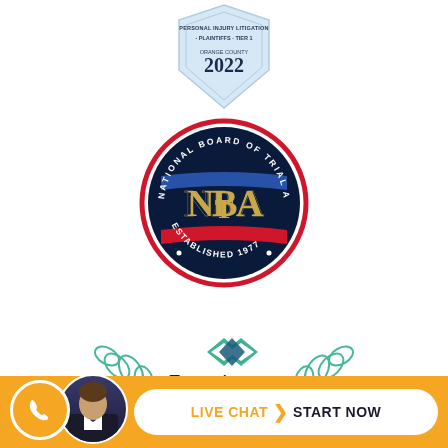[Figure (logo): Best Lawyers award badge: Personal Injury Litigation - Plaintiffs - Tier 1, Orange County 2022]
[Figure (logo): National Board of Trial Advocacy circular seal logo with NBTA initials, Established 1977]
[Figure (logo): Expertise.com award badge with teal diamond logo and laurel wreath, Best Car Accident]
[Figure (infographic): Bottom bar with phone icon, attorney photo, and Live Chat / Start Now button on orange background]